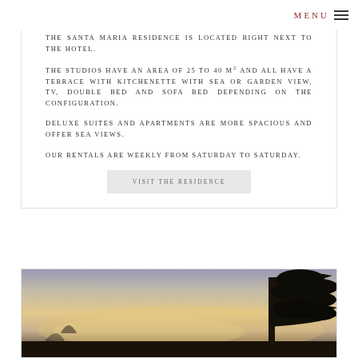MENU
THE SANTA MARIA RESIDENCE IS LOCATED RIGHT NEXT TO THE HOTEL.
THE STUDIOS HAVE AN AREA OF 25 TO 40 M2 AND ALL HAVE A TERRACE WITH KITCHENETTE WITH SEA OR GARDEN VIEW, TV, DOUBLE BED AND SOFA BED DEPENDING ON THE CONFIGURATION.
DELUXE SUITES AND APARTMENTS ARE MORE SPACIOUS AND OFFER SEA VIEWS.
OUR RENTALS ARE WEEKLY FROM SATURDAY TO SATURDAY.
VISIT THE RESIDENCE
[Figure (photo): Outdoor photo at dusk or dawn showing a tree silhouette against a pastel sky with warm horizon tones.]